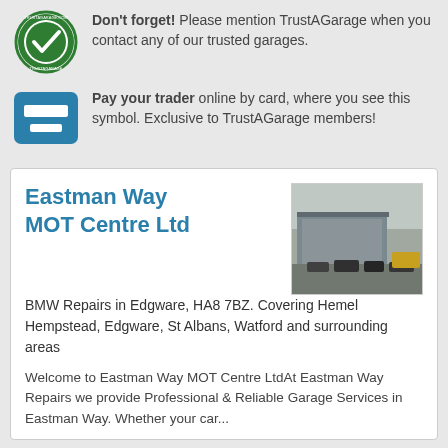Don't forget! Please mention TrustAGarage when you contact any of our trusted garages.
Pay your trader online by card, where you see this symbol. Exclusive to TrustAGarage members!
Eastman Way MOT Centre Ltd
[Figure (photo): Exterior photo of Eastman Way MOT Centre Ltd garage building with cars parked outside]
BMW Repairs in Edgware, HA8 7BZ. Covering Hemel Hempstead, Edgware, St Albans, Watford and surrounding areas
Welcome to Eastman Way MOT Centre LtdAt Eastman Way Repairs we provide Professional & Reliable Garage Services in Eastman Way. Whether your car...